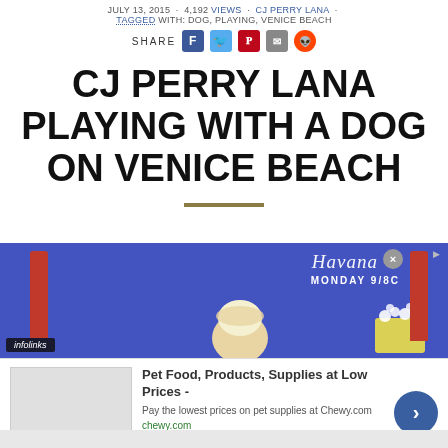TAGGED WITH: DOG, PLAYING, VENICE BEACH
SHARE
CJ PERRY LANA PLAYING WITH A DOG ON VENICE BEACH
[Figure (screenshot): Advertisement banner with blue background showing 'Havana MONDAY 9/8c' text with decorative columns and popcorn. Infolinks badge visible.]
[Figure (screenshot): Ad for Pet Food, Products, Supplies at Low Prices - chewy.com with image placeholder and blue circle arrow button.]